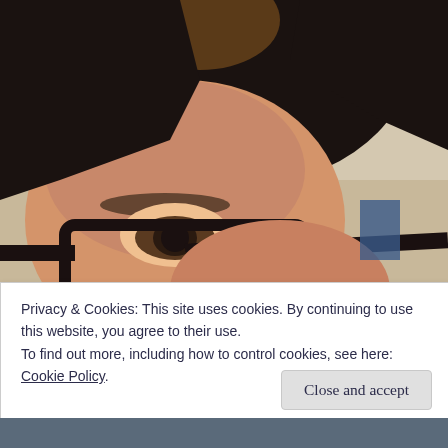[Figure (photo): Close-up selfie photo of a person with short dark hair and black-framed glasses, showing forehead and one eye prominently, with a room background visible]
Privacy & Cookies: This site uses cookies. By continuing to use this website, you agree to their use.
To find out more, including how to control cookies, see here: Cookie Policy
Close and accept